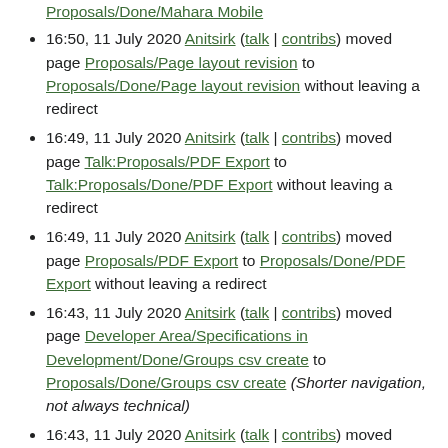Proposals/Done/Mahara Mobile
16:50, 11 July 2020 Anitsirk (talk | contribs) moved page Proposals/Page layout revision to Proposals/Done/Page layout revision without leaving a redirect
16:49, 11 July 2020 Anitsirk (talk | contribs) moved page Talk:Proposals/PDF Export to Talk:Proposals/Done/PDF Export without leaving a redirect
16:49, 11 July 2020 Anitsirk (talk | contribs) moved page Proposals/PDF Export to Proposals/Done/PDF Export without leaving a redirect
16:43, 11 July 2020 Anitsirk (talk | contribs) moved page Developer Area/Specifications in Development/Done/Groups csv create to Proposals/Done/Groups csv create (Shorter navigation, not always technical)
16:43, 11 July 2020 Anitsirk (talk | contribs) moved